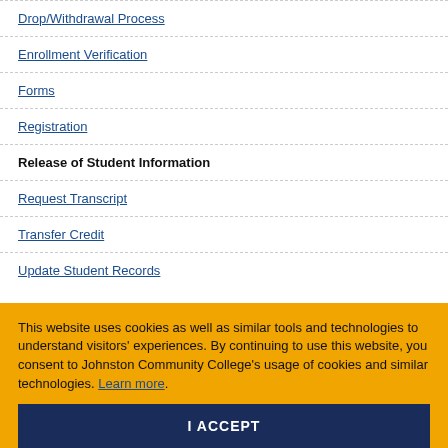Drop/Withdrawal Process
Enrollment Verification
Forms
Registration
Release of Student Information
Request Transcript
Transfer Credit
Update Student Records
This website uses cookies as well as similar tools and technologies to understand visitors' experiences. By continuing to use this website, you consent to Johnston Community College's usage of cookies and similar technologies. Learn more.
I ACCEPT